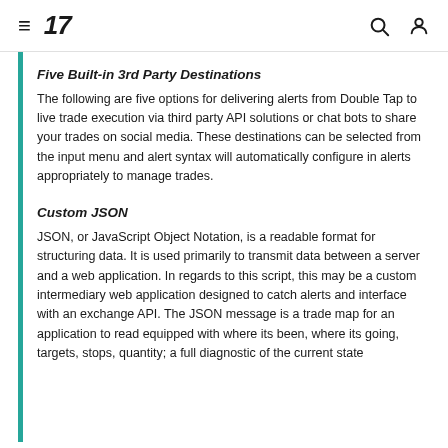TradingView navigation header with hamburger menu, logo, search and profile icons
Five Built-in 3rd Party Destinations
The following are five options for delivering alerts from Double Tap to live trade execution via third party API solutions or chat bots to share your trades on social media. These destinations can be selected from the input menu and alert syntax will automatically configure in alerts appropriately to manage trades.
Custom JSON
JSON, or JavaScript Object Notation, is a readable format for structuring data. It is used primarily to transmit data between a server and a web application. In regards to this script, this may be a custom intermediary web application designed to catch alerts and interface with an exchange API. The JSON message is a trade map for an application to read equipped with where its been, where its going, targets, stops, quantity; a full diagnostic of the current state